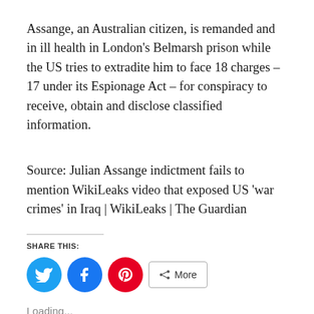Assange, an Australian citizen, is remanded and in ill health in London's Belmarsh prison while the US tries to extradite him to face 18 charges – 17 under its Espionage Act – for conspiracy to receive, obtain and disclose classified information.
Source: Julian Assange indictment fails to mention WikiLeaks video that exposed US 'war crimes' in Iraq | WikiLeaks | The Guardian
SHARE THIS:
[Figure (infographic): Social sharing buttons: Twitter (blue circle), Facebook (blue circle), Pinterest (red circle), and a 'More' button with share icon]
Loading...